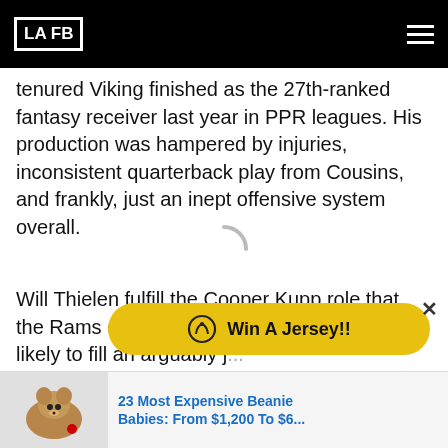LAFB
tenured Viking finished as the 27th-ranked fantasy receiver last year in PPR leagues. His production was hampered by injuries, inconsistent quarterback play from Cousins, and frankly, just an inept offensive system overall.
[Figure (other): Loading spinner arc icon]
Will Thielen fulfill the Cooper Kupp role that the Rams offense so clearly valu... he is likely to fill an arguably j... the Oc... the wi...ddle
[Figure (other): Win A Jersey!! advertisement overlay button with chat bubble icon, yellow/green background]
[Figure (other): 23 Most Expensive Beanie Babies: From $1,200 To $6... advertisement with beanie baby bear image]